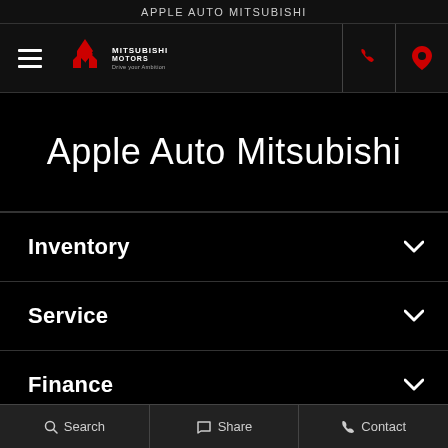APPLE AUTO MITSUBISHI
[Figure (logo): Mitsubishi Motors logo with red diamond emblem and tagline Drive your Ambition]
Apple Auto Mitsubishi
Inventory
Service
Finance
About
Search   Share   Contact